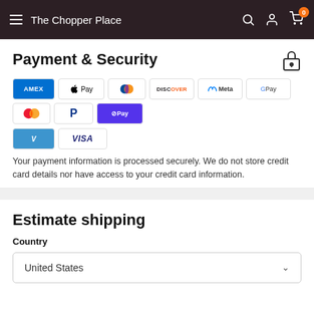The Chopper Place
Payment & Security
[Figure (logo): Payment method icons: AMEX, Apple Pay, Diners Club, Discover, Meta Pay, Google Pay, Mastercard, PayPal, Shop Pay, Venmo, Visa]
Your payment information is processed securely. We do not store credit card details nor have access to your credit card information.
Estimate shipping
Country
United States